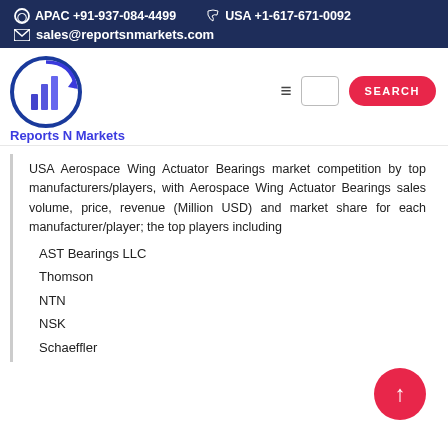APAC +91-937-084-4499   USA +1-617-671-0092   sales@reportsnmarkets.com
[Figure (logo): Reports N Markets logo with bar chart and arrow icon, blue circular design, with text 'Reports N Markets' in blue below]
USA Aerospace Wing Actuator Bearings market competition by top manufacturers/players, with Aerospace Wing Actuator Bearings sales volume, price, revenue (Million USD) and market share for each manufacturer/player; the top players including
AST Bearings LLC
Thomson
NTN
NSK
Schaeffler